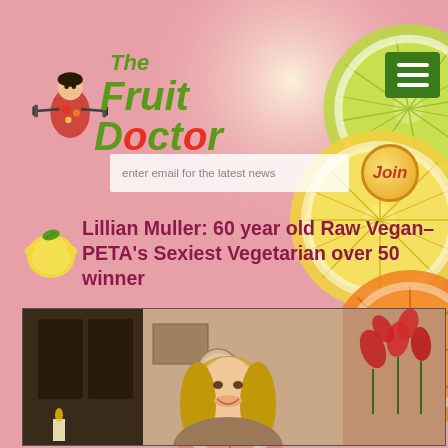[Figure (logo): The Fruit Doctor logo with green stylized text and a character with dumbbells and fruit]
[Figure (illustration): Decorative citrus fruit slices (lime, lemon, orange, grapefruit) arranged in background]
[Figure (infographic): Email signup bar with text 'enter email for the latest news' and Join button]
Lillian Muller: 60 year old Raw Vegan–PETA's Sexiest Vegetarian over 50 winner
[Figure (photo): Photo of blonde woman (Lillian Muller) in indoor setting with red flowers]